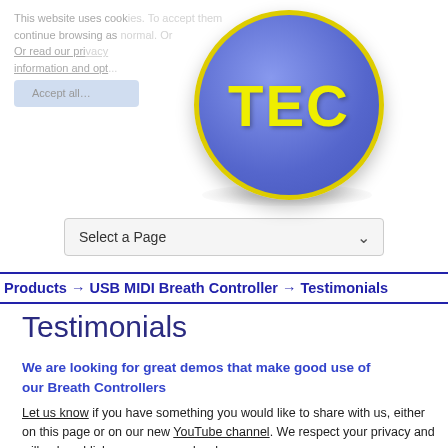[Figure (logo): TEC logo — blue circle with yellow border and yellow bold TEC text]
This website uses cookies. To accept them continue browsing as normal. Or read our privacy information and opt... Accept all...
Select a Page
Products → USB MIDI Breath Controller → Testimonials
Testimonials
We are looking for great demos that make good use of our Breath Controllers
Let us know if you have something you would like to share with us, either on this page or on our new YouTube channel. We respect your privacy and will only publish your name and web